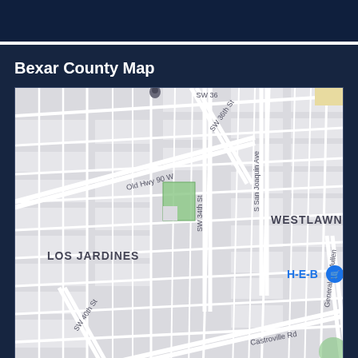Bexar County Map
[Figure (map): Street map of Bexar County showing neighborhoods Los Jardines and Westlawn, streets including SW 36th St, SW 34th St, SW 40th St, Old Hwy 90 W, S San Joaquin Ave, Castroville Rd, General McMullen, and a landmark H-E-B store with shopping cart icon. A small green park area is visible near SW 34th St.]